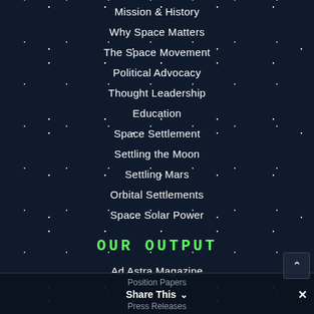Mission & History
Why Space Matters
The Space Movement
Political Advocacy
Thought Leadership
Education
Space Settlement
Settling the Moon
Settling Mars
Orbital Settlements
Space Solar Power
OUR OUTPUT
Ad Astra Magazine
Position Papers
Share This
Press Releases